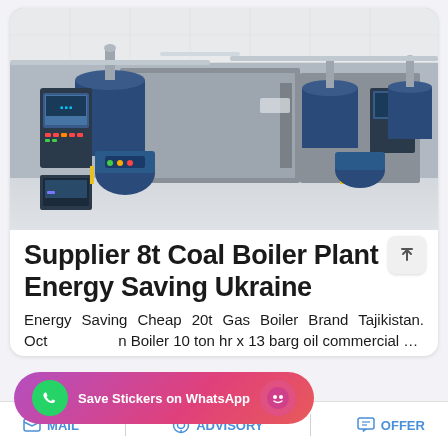[Figure (photo): Industrial boiler plant room showing multiple blue and silver steam boilers with control panels, pipes, and equipment installed in a clean white interior facility]
Supplier 8t Coal Boiler Plant Energy Saving Ukraine
Energy Saving Cheap 20t Gas Boiler Brand Tajikistan. Oct Boiler 10 ton hr x 13 barg oil commercial …